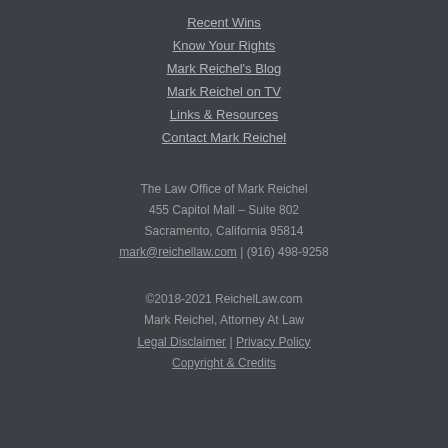Recent Wins
Know Your Rights
Mark Reichel's Blog
Mark Reichel on TV
Links & Resources
Contact Mark Reichel
The Law Office of Mark Reichel
455 Capitol Mall – Suite 802
Sacramento, California 95814
mark@reichellaw.com | (916) 498-9258
©2018-2021 ReichelLaw.com
Mark Reichel, Attorney At Law
Legal Disclaimer | Privacy Policy
Copyright & Credits